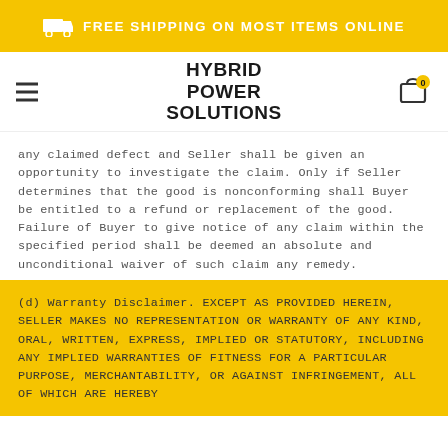FREE SHIPPING ON MOST ITEMS ONLINE
[Figure (logo): Hybrid Power Solutions logo with hamburger menu and cart icon]
any claimed defect and Seller shall be given an opportunity to investigate the claim. Only if Seller determines that the good is nonconforming shall Buyer be entitled to a refund or replacement of the good. Failure of Buyer to give notice of any claim within the specified period shall be deemed an absolute and unconditional waiver of such claim any remedy.
(d) Warranty Disclaimer. EXCEPT AS PROVIDED HEREIN, SELLER MAKES NO REPRESENTATION OR WARRANTY OF ANY KIND, ORAL, WRITTEN, EXPRESS, IMPLIED OR STATUTORY, INCLUDING ANY IMPLIED WARRANTIES OF FITNESS FOR A PARTICULAR PURPOSE, MERCHANTABILITY, OR AGAINST INFRINGEMENT, ALL OF WHICH ARE HEREBY